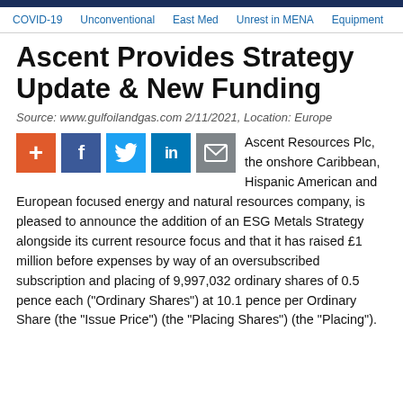COVID-19   Unconventional   East Med   Unrest in MENA   Equipment
Ascent Provides Strategy Update & New Funding
Source: www.gulfoilandgas.com 2/11/2021, Location: Europe
[Figure (other): Social sharing buttons: plus/add, Facebook, Twitter, LinkedIn, email]
Ascent Resources Plc, the onshore Caribbean, Hispanic American and European focused energy and natural resources company, is pleased to announce the addition of an ESG Metals Strategy alongside its current resource focus and that it has raised £1 million before expenses by way of an oversubscribed subscription and placing of 9,997,032 ordinary shares of 0.5 pence each ("Ordinary Shares") at 10.1 pence per Ordinary Share (the "Issue Price") (the "Placing Shares") (the "Placing").